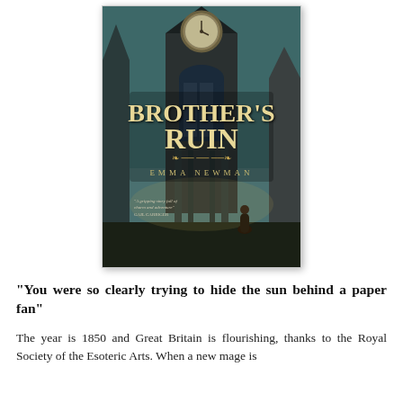[Figure (illustration): Book cover of 'Brother's Ruin' by Emma Newman. Dark steampunk aesthetic with a large clock tower/cathedral in the background, a woman in Victorian dress in the foreground, and decorative gothic architecture. Title in ornate gold lettering. Quote from Gail Carriger: 'A gripping story full of charm and adventure']
"You were so clearly trying to hide the sun behind a paper fan"
The year is 1850 and Great Britain is flourishing, thanks to the Royal Society of the Esoteric Arts. When a new mage is